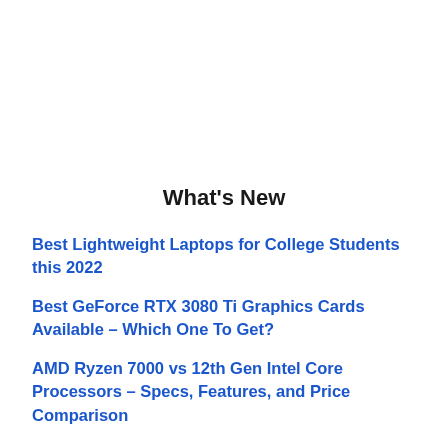What's New
Best Lightweight Laptops for College Students this 2022
Best GeForce RTX 3080 Ti Graphics Cards Available – Which One To Get?
AMD Ryzen 7000 vs 12th Gen Intel Core Processors – Specs, Features, and Price Comparison